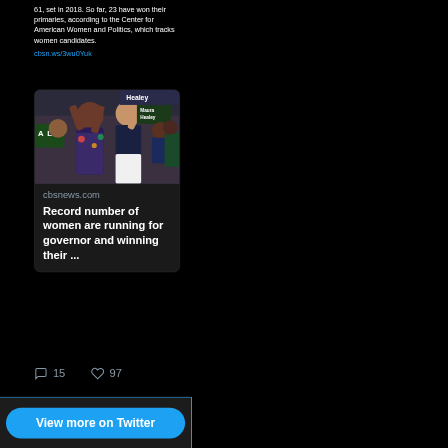61, set in 2018. So far, 23 have won their primaries, according to the Center for American Women and Politics, which tracks women candidates.
cbsn.ws/3wu0Yuk
[Figure (photo): Photo of two women at a Maura Healey campaign rally raising their arms, surrounded by supporters holding Healey signs]
cbsnews.com
Record number of women are running for governor and winning their ...
15 comments, 97 likes
View more on Twitter